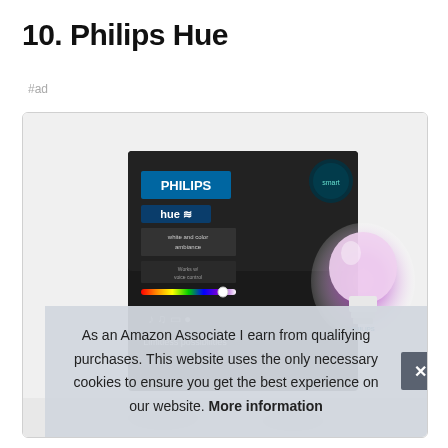10. Philips Hue
#ad
[Figure (photo): Philips Hue smart light bulb product box on a white background. The box is dark/black with the Philips and hue logos, showing a colorful light bulb with purple/pink glow. Text on box reads 'white and color ambiance' and 'Limitless possibilities'.]
As an Amazon Associate I earn from qualifying purchases. This website uses the only necessary cookies to ensure you get the best experience on our website. More information